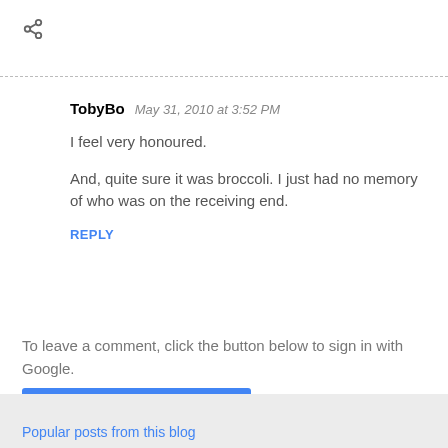[Figure (other): Share icon (arrow/network share symbol) in gray]
TobyBo  May 31, 2010 at 3:52 PM
I feel very honoured.

And, quite sure it was broccoli. I just had no memory of who was on the receiving end.

REPLY
To leave a comment, click the button below to sign in with Google.
SIGN IN WITH GOOGLE
Popular posts from this blog